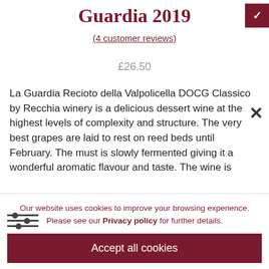Guardia 2019
(4 customer reviews)
£26.50
La Guardia Recioto della Valpolicella DOCG Classico by Recchia winery is a delicious dessert wine at the highest levels of complexity and structure. The very best grapes are laid to rest on reed beds until February. The must is slowly fermented giving it a wonderful aromatic flavour and taste. The wine is bottled... [text continues below cookie banner]
Our website uses cookies to improve your browsing experience. Please see our Privacy policy for further details.
Accept all cookies